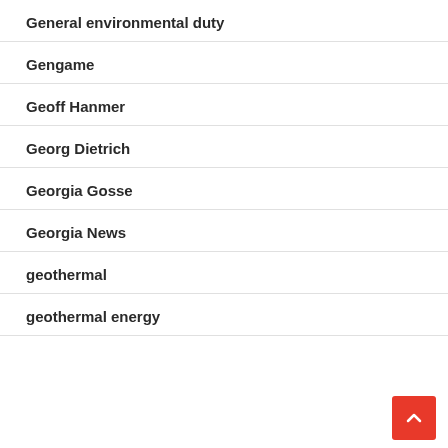General environmental duty
Gengame
Geoff Hanmer
Georg Dietrich
Georgia Gosse
Georgia News
geothermal
geothermal energy